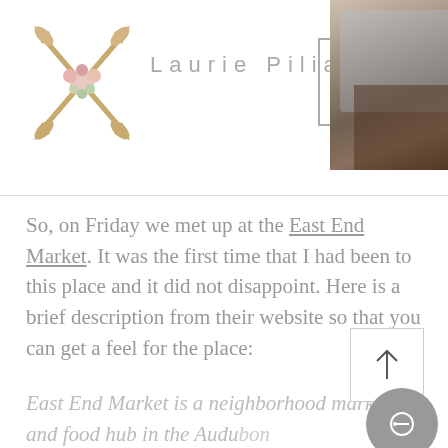Laurie Pilia
So, on Friday we met up at the East End Market.  It was the first time that I had been to this place and it did not disappoint. Here is a brief description from their website so that you can get a feel for the place:
East End Market is a neighborhood market and food hub in the Audubon Park Garden District of Orlando, Florida. The Market showcases some of Central Florida's top food entrepreneurs, tradespeople, artists and chefs. The two-story structure is